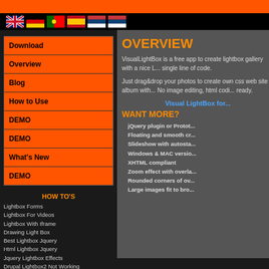[Figure (illustration): Flag icons row: UK, Germany, Portugal, Spain, Serbia, Serbia variant flags on black background]
Download
Overview
Blog
How to Use
DEMO
DEMO
What's New
DEMO
HOW TO'S
Lightbox Forms
Lightbox For Videos
Lightbox With Iframe
Drawing Light Box
Best Lightbox Jquery
Html Lightbox Jquery
Jquery Lightbox Effects
Drupal Lightbox2 Not Working
Dreamweaver Lightbox Extension
Visual Lightbox Business Edition
Rapidshare
OVERVIEW
VisualLightBox is a free app to create lightbox gallery with a nice L... single line of code.
Just drag&drop your photos to create own css web site album with... No image editing, html codi... ready.
Visual LightBox for...
WANT MORE?
jQuery plugin or Protot...
Floating and smooth cr...
Slideshow with autosta...
Windows & MAC versio...
XHTML compliant
Zoom effect with overla...
Rounded corners of ov...
Large images fit to bro...